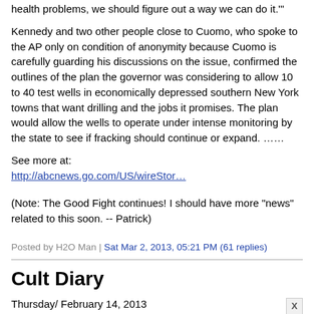health problems, we should figure out a way we can do it.'"
Kennedy and two other people close to Cuomo, who spoke to the AP only on condition of anonymity because Cuomo is carefully guarding his discussions on the issue, confirmed the outlines of the plan the governor was considering to allow 10 to 40 test wells in economically depressed southern New York towns that want drilling and the jobs it promises. The plan would allow the wells to operate under intense monitoring by the state to see if fracking should continue or expand. ……
See more at:
http://abcnews.go.com/US/wireStor…
(Note: The Good Fight continues! I should have more “news” related to this soon. -- Patrick)
Posted by H2O Man | Sat Mar 2, 2013, 05:21 PM (61 replies)
Cult Diary
Thursday/ February 14, 2013